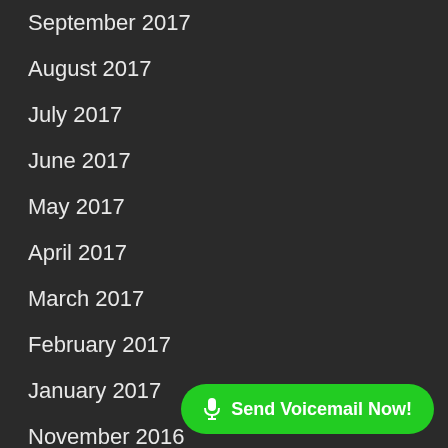September 2017
August 2017
July 2017
June 2017
May 2017
April 2017
March 2017
February 2017
January 2017
November 2016
October 2016
September 2016
August 2016
[Figure (other): Green rounded button with microphone icon and text 'Send Voicemail Now!']